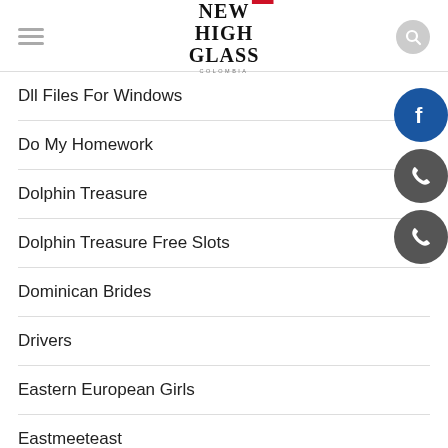New High Glass Colombia
Dll Files For Windows
Do My Homework
Dolphin Treasure
Dolphin Treasure Free Slots
Dominican Brides
Drivers
Eastern European Girls
Eastmeeteast